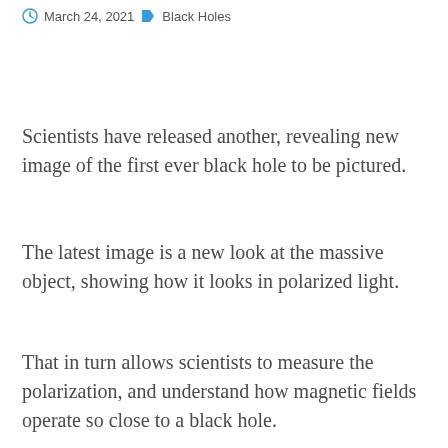March 24, 2021  Black Holes
Scientists have released another, revealing new image of the first ever black hole to be pictured.
The latest image is a new look at the massive object, showing how it looks in polarized light.
That in turn allows scientists to measure the polarization, and understand how magnetic fields operate so close to a black hole.